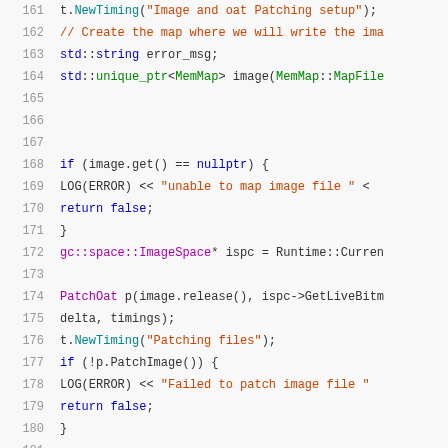[Figure (screenshot): Source code snippet showing C++ code lines 161-181 with syntax highlighting. Lines include NewTiming calls, map creation, error handling with LOG(ERROR), ImageSpace pointer, PatchOat constructor call, and PatchImage conditional block.]